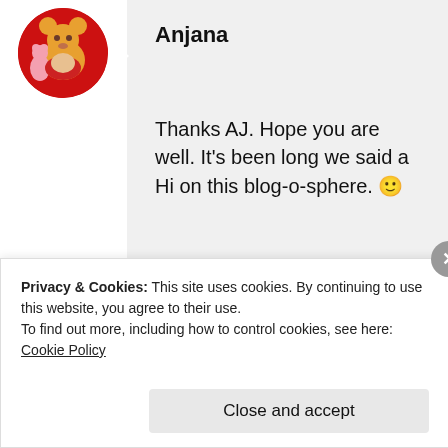[Figure (illustration): Circular avatar with Winnie the Pooh and Piglet illustration on red background]
Anjana
Thanks AJ. Hope you are well. It's been long we said a Hi on this blog-o-sphere. 🙂
★ Like
AUGUST 4, 2019 AT 10:28 AM
Privacy & Cookies: This site uses cookies. By continuing to use this website, you agree to their use.
To find out more, including how to control cookies, see here: Cookie Policy
Close and accept